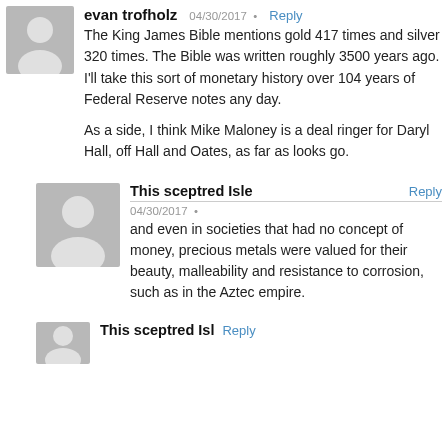evan trofholz   04/30/2017  •  Reply
The King James Bible mentions gold 417 times and silver 320 times. The Bible was written roughly 3500 years ago. I'll take this sort of monetary history over 104 years of Federal Reserve notes any day.
As a side, I think Mike Maloney is a deal ringer for Daryl Hall, off Hall and Oates, as far as looks go.
This sceptred Isle   Reply   04/30/2017  •
and even in societies that had no concept of money, precious metals were valued for their beauty, malleability and resistance to corrosion, such as in the Aztec empire.
This sceptred Isle   Reply